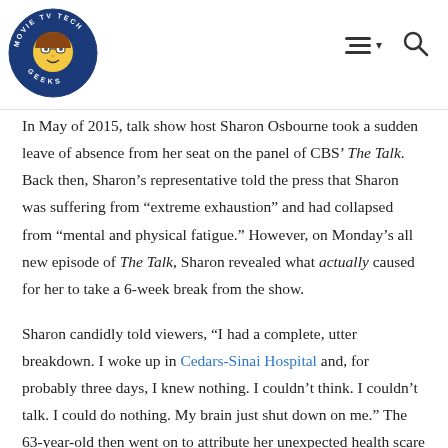Movie TV Tech Geeks [logo] [navigation icons]
In May of 2015, talk show host Sharon Osbourne took a sudden leave of absence from her seat on the panel of CBS’ The Talk. Back then, Sharon’s representative told the press that Sharon was suffering from “extreme exhaustion” and had collapsed from “mental and physical fatigue.” However, on Monday’s all new episode of The Talk, Sharon revealed what actually caused for her to take a 6-week break from the show.
Sharon candidly told viewers, “I had a complete, utter breakdown. I woke up in Cedars-Sinai Hospital and, for probably three days, I knew nothing. I couldn’t think. I couldn’t talk. I could do nothing. My brain just shut down on me.” The 63-year-old then went on to attribute her unexpected health scare to her inability to give herself a break. She explained, “I was doing too much of everything, thinking that I’m